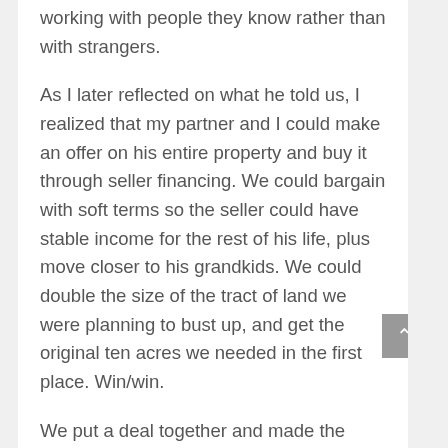working with people they know rather than with strangers.
As I later reflected on what he told us, I realized that my partner and I could make an offer on his entire property and buy it through seller financing. We could bargain with soft terms so the seller could have stable income for the rest of his life, plus move closer to his grandkids. We could double the size of the tract of land we were planning to bust up, and get the original ten acres we needed in the first place. Win/win.
We put a deal together and made the offer and it was accepted. We